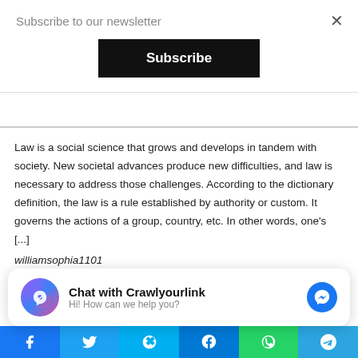Subscribe to our newsletter
Subscribe
Law is a social science that grows and develops in tandem with society. New societal advances produce new difficulties, and law is necessary to address those challenges. According to the dictionary definition, the law is a rule established by authority or custom. It governs the actions of a group, country, etc. In other words, one's [...] williamsophia1101
3 Tips For Dealing With Roller Shutter Repairs London - August 12, 2022
The good news is that there are several options for dealing with the effect of Roller Shutter Repairs London. Here are
Chat with Crawlyourlink
Hi! How can we help you?